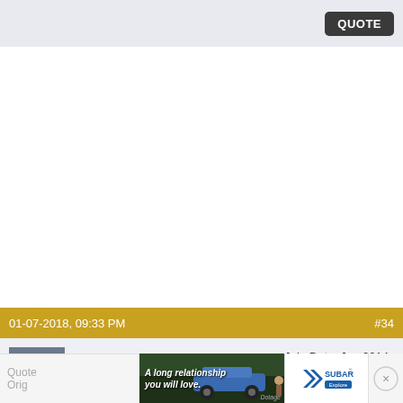QUOTE
01-07-2018, 09:33 PM   #34
rbryan   Join Date: Jun 2014   Posts: 1,298   Registry
[Figure (screenshot): Forum post bottom section with ad banner showing Subaru advertisement with text 'A long relationship you will love.' and Explore button]